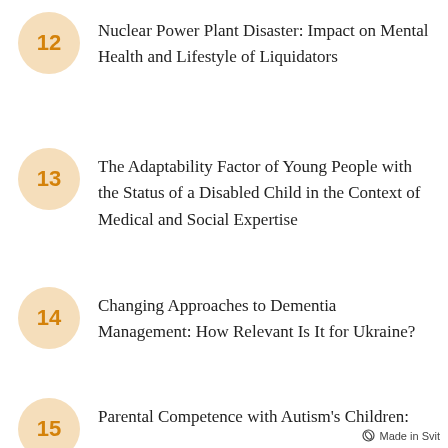12 Nuclear Power Plant Disaster: Impact on Mental Health and Lifestyle of Liquidators
13 The Adaptability Factor of Young People with the Status of a Disabled Child in the Context of Medical and Social Expertise
14 Changing Approaches to Dementia Management: How Relevant Is It for Ukraine?
15 Parental Competence with Autism's Children:
Made in Svit